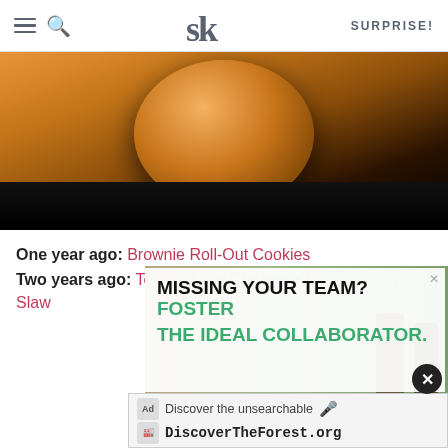SK | SURPRISE!
[Figure (photo): Food photo showing a round baked good (bread or cake ball) on a baking sheet against a warm orange-brown background, with dark lower section showing the oven or shelf.]
One year ago: Brownie Roll-Out Cookies
Two years ago: Tequila Lime Chicken + Green Onion Slaw
[Figure (screenshot): Advertisement: 'MISSING YOUR TEAM? FOSTER THE IDEAL COLLABORATOR.' in black and green bold text, with a photo of people in a forest background. Below: an ad bar with 'Discover the unsearchable' and 'DiscoverTheForest.org'. There is a close (X) button.]